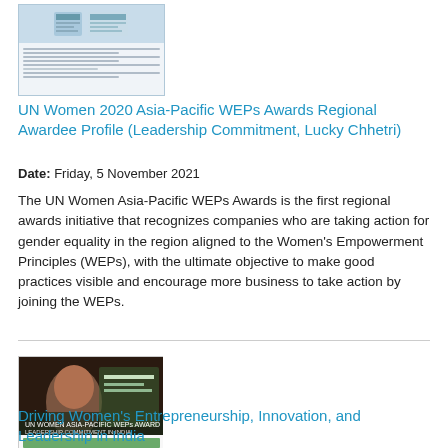[Figure (illustration): Thumbnail image of a document page with UN-style header graphic and text lines]
UN Women 2020 Asia-Pacific WEPs Awards Regional Awardee Profile (Leadership Commitment, Lucky Chhetri)
Date: Friday, 5 November 2021
The UN Women Asia-Pacific WEPs Awards is the first regional awards initiative that recognizes companies who are taking action for gender equality in the region aligned to the Women's Empowerment Principles (WEPs), with the ultimate objective to make good practices visible and encourage more business to take action by joining the WEPs.
[Figure (illustration): Thumbnail image of a document with photo of women and green section headers with text content]
Driving Women's Entrepreneurship, Innovation, and Leadership in India